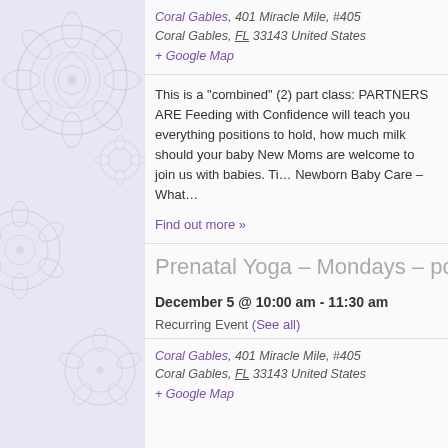Coral Gables, 401 Miracle Mile, #405
Coral Gables, FL 33143 United States
+ Google Map
This is a "combined" (2) part class: PARTNERS ARE Feeding with Confidence will teach you everything positions to hold, how much milk should your baby New Moms are welcome to join us with babies. Ti... Newborn Baby Care – What...
Find out more »
Prenatal Yoga – Mondays – postponed
December 5 @ 10:00 am - 11:30 am
Recurring Event (See all)
Coral Gables, 401 Miracle Mile, #405
Coral Gables, FL 33143 United States
+ Google Map